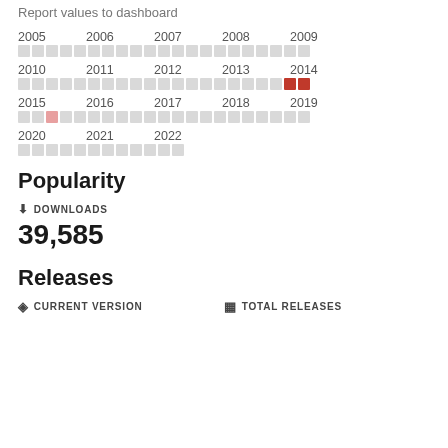Report values to dashboard
[Figure (other): Calendar heatmap showing activity from 2005 to 2022. Most squares are light gray, with two dark red squares near the end of 2014, and one pink square in early 2015.]
Popularity
DOWNLOADS
39,585
Releases
CURRENT VERSION   TOTAL RELEASES